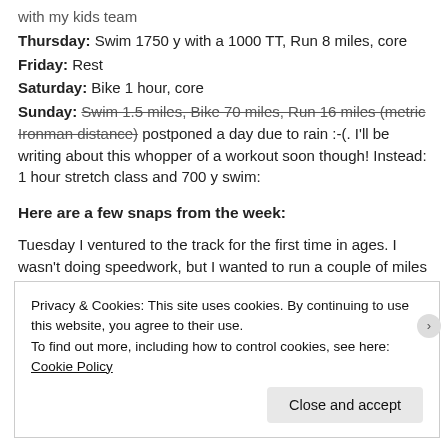with my kids team
Thursday: Swim 1750 y with a 1000 TT, Run 8 miles, core
Friday: Rest
Saturday: Bike 1 hour, core
Sunday: Swim 1.5 miles, Bike 70 miles, Run 16 miles (metric Ironman distance) postponed a day due to rain :-(. I'll be writing about this whopper of a workout soon though! Instead: 1 hour stretch class and 700 y swim:
Here are a few snaps from the week:
Tuesday I ventured to the track for the first time in ages. I wasn't doing speedwork, but I wanted to run a couple of miles on a soft
Privacy & Cookies: This site uses cookies. By continuing to use this website, you agree to their use.
To find out more, including how to control cookies, see here: Cookie Policy

Close and accept